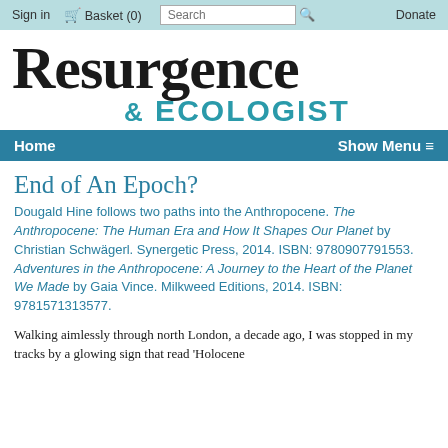Sign in  Basket (0)  Search  Donate
Resurgence & ECOLOGIST
Home  Show Menu ☰
End of An Epoch?
Dougald Hine follows two paths into the Anthropocene. The Anthropocene: The Human Era and How It Shapes Our Planet by Christian Schwägerl. Synergetic Press, 2014. ISBN: 9780907791553. Adventures in the Anthropocene: A Journey to the Heart of the Planet We Made by Gaia Vince. Milkweed Editions, 2014. ISBN: 9781571313577.
Walking aimlessly through north London, a decade ago, I was stopped in my tracks by a glowing sign that read 'Holocene